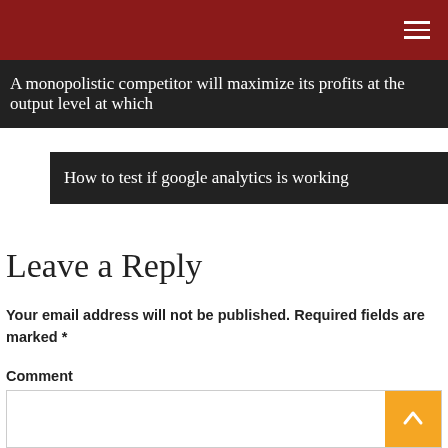A monopolistic competitor will maximize its profits at the output level at which
How to test if google analytics is working
Leave a Reply
Your email address will not be published. Required fields are marked *
Comment